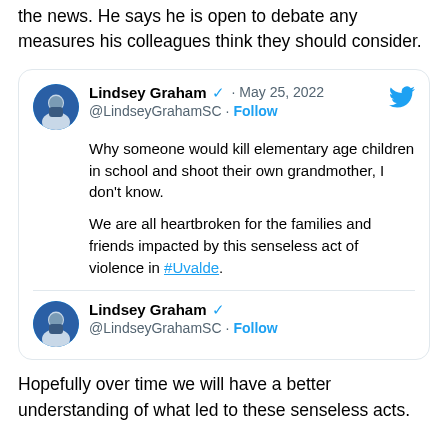the news. He says he is open to debate any measures his colleagues think they should consider.
[Figure (screenshot): Embedded tweet from Lindsey Graham (@LindseyGrahamSC), May 25, 2022, with verified badge and Twitter bird icon. Tweet text: 'Why someone would kill elementary age children in school and shoot their own grandmother, I don't know. We are all heartbroken for the families and friends impacted by this senseless act of violence in #Uvalde.' Followed by a second tweet header showing Lindsey Graham @LindseyGrahamSC with Follow link.]
Hopefully over time we will have a better understanding of what led to these senseless acts.